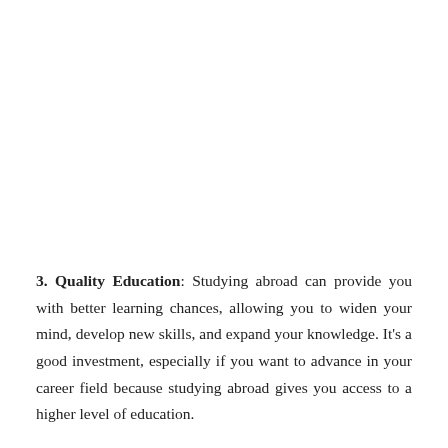3. Quality Education: Studying abroad can provide you with better learning chances, allowing you to widen your mind, develop new skills, and expand your knowledge. It's a good investment, especially if you want to advance in your career field because studying abroad gives you access to a higher level of education.